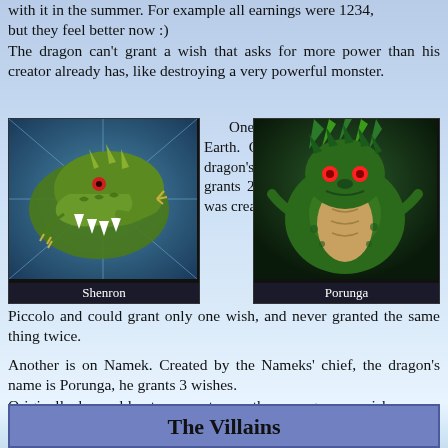with it in the summer. For example all earnings were 1234, but they feel better now :)
The dragon can't grant a wish that asks for more power than his creator already has, like destroying a very powerful monster.
[Figure (illustration): Illustration of Shenron dragon with caption 'Shenron']
One Dragon Ball set is on Earth. Created by Dende, the dragon's name is Shenron, he grants 2 wishes. Originally, he was created by the "father" of
[Figure (illustration): Illustration of Porunga dragon with caption 'Porunga']
Piccolo and could grant only one wish, and never granted the same thing twice.
Another is on Namek. Created by the Nameks' chief, the dragon's name is Porunga, he grants 3 wishes.
Originally, he could not resurrect more than one guy per wish.
He only answers to wishes asked in Namek language, although he answers in a perfect English.
The Villains